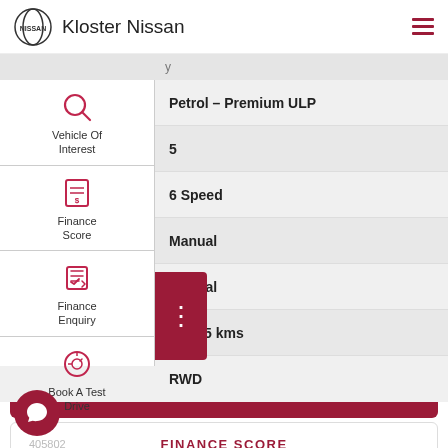Kloster Nissan
| Field | Value |
| --- | --- |
| pe | Petrol – Premium ULP |
| ty | 5 |
|  | 6 Speed |
| ox | Manual |
| nission | Manual |
|  | 22,455 kms |
|  | RWD |
CONTACT US
405802 FINANCE SCORE